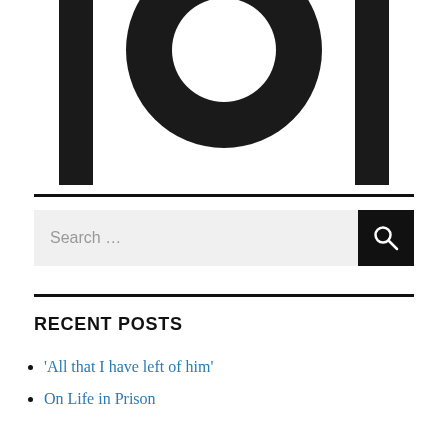[Figure (logo): Partial black rounded square logo icon with a circular element visible at the top, cropped at the top of the page]
[Figure (screenshot): Search bar with placeholder text 'Search ...' and a black search button with magnifying glass icon]
RECENT POSTS
‘All that I have left of him’
On Life in Prison